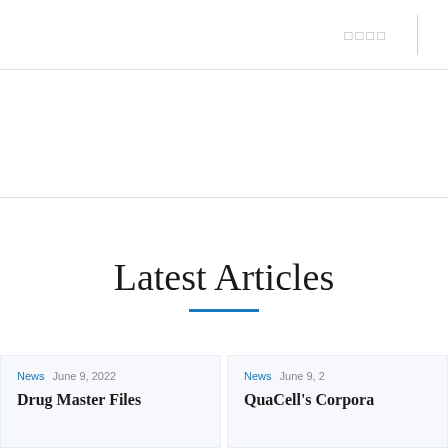□□□□
Latest Articles
News  June 9, 2022
Drug Master Files
News  June 9, 2
QuaCell's Corpora